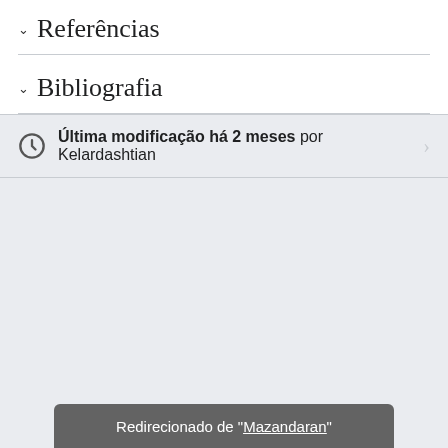Referências
Bibliografia
Última modificação há 2 meses por Kelardashtian
Redirecionado de "Mazandaran"